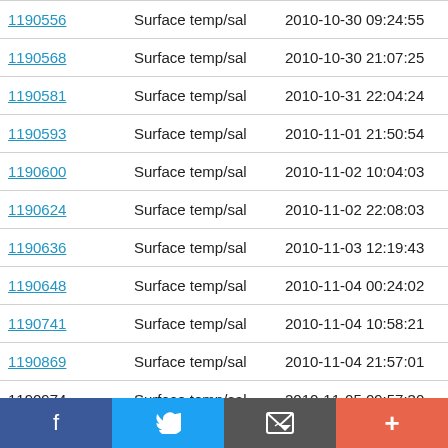| ID | Type | Datetime | Location |
| --- | --- | --- | --- |
| 1190556 | Surface temp/sal | 2010-10-30 09:24:55 | 53.337 N |
| 1190568 | Surface temp/sal | 2010-10-30 21:07:25 | 53.33 N |
| 1190581 | Surface temp/sal | 2010-10-31 22:04:24 | 53.337 N |
| 1190593 | Surface temp/sal | 2010-11-01 21:50:54 | 53.33 N |
| 1190600 | Surface temp/sal | 2010-11-02 10:04:03 | 53.337 N |
| 1190624 | Surface temp/sal | 2010-11-02 22:08:03 | 53.33 N |
| 1190636 | Surface temp/sal | 2010-11-03 12:19:43 | 53.336 N |
| 1190648 | Surface temp/sal | 2010-11-04 00:24:02 | 53.33 N |
| 1190741 | Surface temp/sal | 2010-11-04 10:58:21 | 53.337 N |
| 1190869 | Surface temp/sal | 2010-11-04 21:57:01 | 53.33 N |
| 1190974 | Surface temp/sal | 2010-11-05 09:57:30 | 53.337 N |